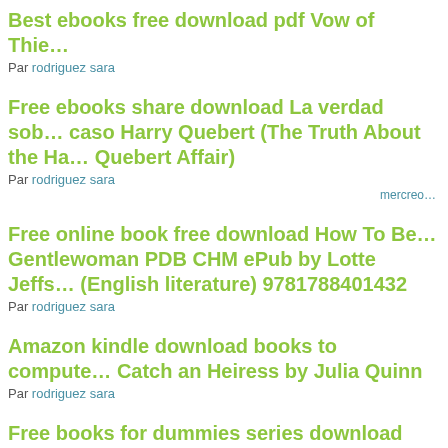Best ebooks free download pdf Vow of Thie…
Par rodriguez sara
Free ebooks share download La verdad sob… caso Harry Quebert (The Truth About the Ha… Quebert Affair)
Par rodriguez sara
mercreo…
Free online book free download How To Be… Gentlewoman PDB CHM ePub by Lotte Jeffs… (English literature) 9781788401432
Par rodriguez sara
Amazon kindle download books to compute… Catch an Heiress by Julia Quinn
Par rodriguez sara
Free books for dummies series download Th… Disposable Skateboard Bible PDB ePub 9781584233275 (English Edition)
Par rodriguez sara